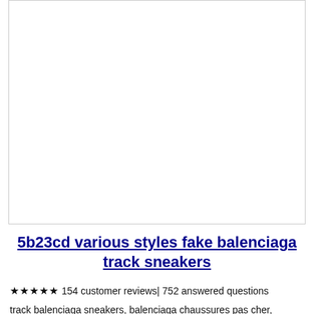[Figure (photo): White blank image area, product image placeholder]
5b23cd various styles fake balenciaga track sneakers
★★★★★ 154 customer reviews| 752 answered questions
track balenciaga sneakers, balenciaga chaussures pas cher,